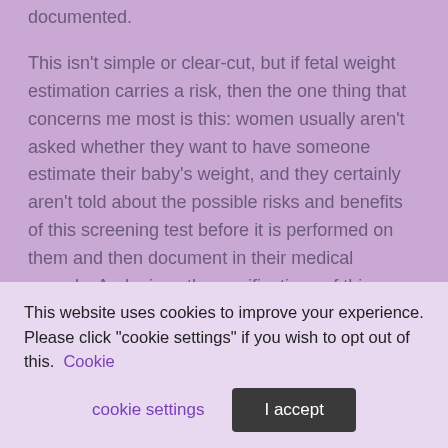documented.
This isn't simple or clear-cut, but if fetal weight estimation carries a risk, then the one thing that concerns me most is this: women usually aren't asked whether they want to have someone estimate their baby's weight, and they certainly aren't told about the possible risks and benefits of this screening test before it is performed on them and then document in their medical records. And, given the ramifications of this screening test, not to mention the fact that our estimation of fetal weight is often not that accurate (for who doesn't have a friend whose baby was thought to be tiny when it was inside but turned out to look like a mini All Black upon arrival), I think we need to give some serious thought to whether it is justifiable to continue such a practice or whether it might be something that women and their families should be
This website uses cookies to improve your experience. Please click "cookie settings" if you wish to opt out of this. Cookie settings | I accept